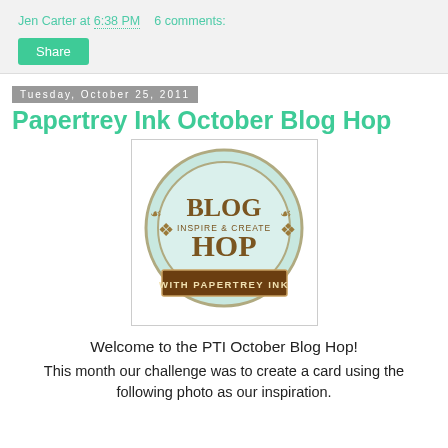Jen Carter at 6:38 PM   6 comments:
Share
Tuesday, October 25, 2011
Papertrey Ink October Blog Hop
[Figure (logo): Blog Hop Inspire & Create with Papertrey Ink circular logo with mint/teal background and brown text]
Welcome to the PTI October Blog Hop!
This month our challenge was to create a card using the following photo as our inspiration.